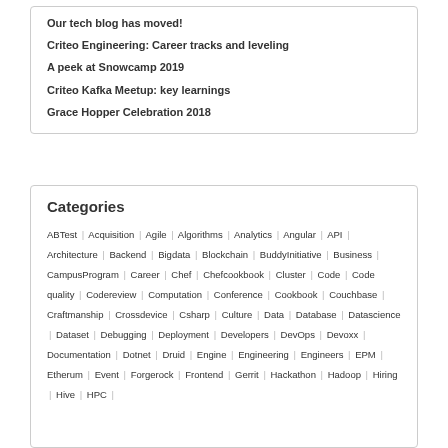Our tech blog has moved!
Criteo Engineering: Career tracks and leveling
A peek at Snowcamp 2019
Criteo Kafka Meetup: key learnings
Grace Hopper Celebration 2018
Categories
ABTest | Acquisition | Agile | Algorithms | Analytics | Angular | API | Architecture | Backend | Bigdata | Blockchain | BuddyInitiative | Business | CampusProgram | Career | Chef | Chefcookbook | Cluster | Code | Code quality | Codereview | Computation | Conference | Cookbook | Couchbase | Craftmanship | Crossdevice | Csharp | Culture | Data | Database | Datascience | Dataset | Debugging | Deployment | Developers | DevOps | Devoxx | Documentation | Dotnet | Druid | Engine | Engineering | Engineers | EPM | Etherum | Event | Forgerock | Frontend | Gerrit | Hackathon | Hadoop | Hiring | Hive | HPC